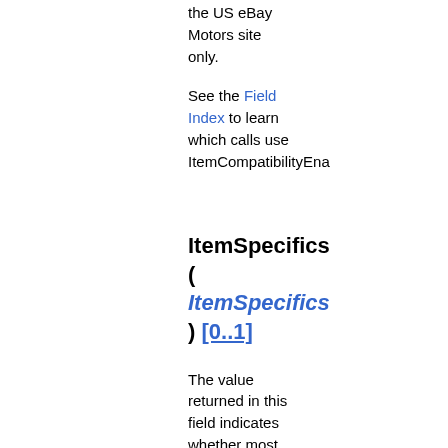the US eBay Motors site only.
See the Field Index to learn which calls use ItemCompatibilityEna
ItemSpecifics ( ItemSpecifics ) [0..1]
The value returned in this field indicates whether most